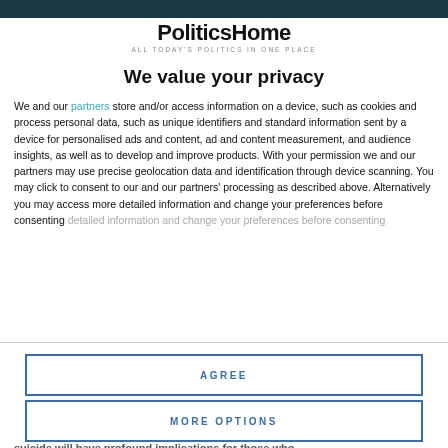PoliticsHome — ALL TODAY'S POLITICS IN ONE PLACE
We value your privacy
We and our partners store and/or access information on a device, such as cookies and process personal data, such as unique identifiers and standard information sent by a device for personalised ads and content, ad and content measurement, and audience insights, as well as to develop and improve products. With your permission we and our partners may use precise geolocation data and identification through device scanning. You may click to consent to our and our partners' processing as described above. Alternatively you may access more detailed information and change your preferences before consenting
AGREE
MORE OPTIONS
suicide will have profound implications for those who